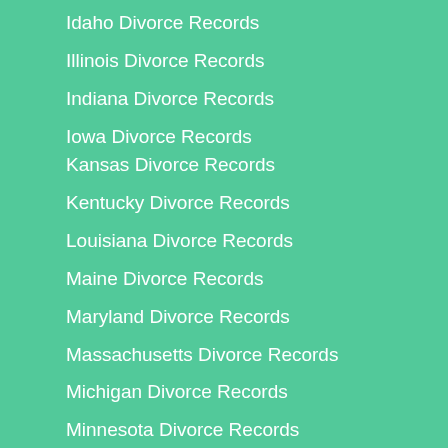Idaho Divorce Records
Illinois Divorce Records
Indiana Divorce Records
Iowa Divorce Records
Kansas Divorce Records
Kentucky Divorce Records
Louisiana Divorce Records
Maine Divorce Records
Maryland Divorce Records
Massachusetts Divorce Records
Michigan Divorce Records
Minnesota Divorce Records